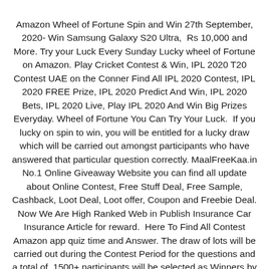Amazon Wheel of Fortune Spin and Win 27th September, 2020- Win Samsung Galaxy S20 Ultra,  Rs 10,000 and More. Try your Luck Every Sunday Lucky wheel of Fortune on Amazon. Play Cricket Contest & Win, IPL 2020 T20 Contest UAE on the Conner Find All IPL 2020 Contest, IPL 2020 FREE Prize, IPL 2020 Predict And Win, IPL 2020 Bets, IPL 2020 Live, Play IPL 2020 And Win Big Prizes Everyday. Wheel of Fortune You Can Try Your Luck.  If you lucky on spin to win, you will be entitled for a lucky draw which will be carried out amongst participants who have answered that particular question correctly. MaalFreeKaa.in No.1 Online Giveaway Website you can find all update about Online Contest, Free Stuff Deal, Free Sample, Cashback, Loot Deal, Loot offer, Coupon and Freebie Deal. Now We Are High Ranked Web in Publish Insurance Car Insurance Article for reward.  Here To Find All Contest Amazon app quiz time and Answer. The draw of lots will be carried out during the Contest Period for the questions and a total of  1500+ participants will be selected as Winners by a